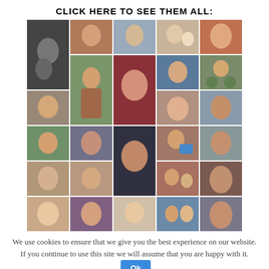CLICK HERE TO SEE THEM ALL:
[Figure (photo): Collage of approximately 27 portrait photos of various women, arranged in a 5-column grid layout]
We use cookies to ensure that we give you the best experience on our website. If you continue to use this site we will assume that you are happy with it.  Ok